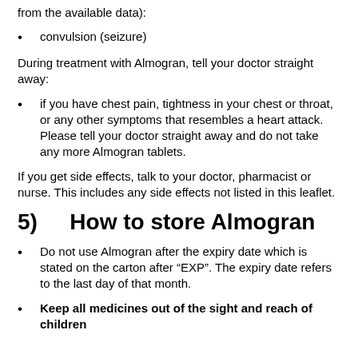from the available data):
convulsion (seizure)
During treatment with Almogran, tell your doctor straight away:
if you have chest pain, tightness in your chest or throat, or any other symptoms that resembles a heart attack. Please tell your doctor straight away and do not take any more Almogran tablets.
If you get side effects, talk to your doctor, pharmacist or nurse. This includes any side effects not listed in this leaflet.
5)    How to store Almogran
Do not use Almogran after the expiry date which is stated on the carton after “EXP”. The expiry date refers to the last day of that month.
Keep all medicines out of the sight and reach of children